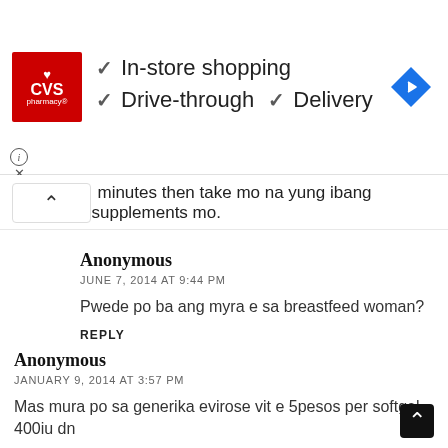[Figure (logo): CVS Pharmacy advertisement banner with logo, checkmarks for In-store shopping, Drive-through, Delivery, and a navigation arrow icon]
minutes then take mo na yung ibang supplements mo.
Anonymous
JUNE 7, 2014 AT 9:44 PM

Pwede po ba ang myra e sa breastfeed woman?

REPLY
Anonymous
JANUARY 9, 2014 AT 3:57 PM

Mas mura po sa generika evirose vit e 5pesos per softgel 400iu dn

REPLY